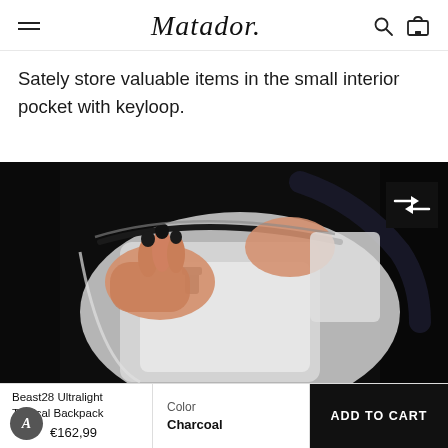Matador (logo) with hamburger menu, search, and cart icons
Sately store valuable items in the small interior pocket with keyloop.
[Figure (photo): Close-up photo of hands opening a zipper on a backpack's small interior pocket, showing white fabric interior and dark zipper against a dark background. An expand/arrows icon appears in the top right corner.]
Beast28 Ultralight Tactical Backpack €162,99
Color Charcoal
ADD TO CART